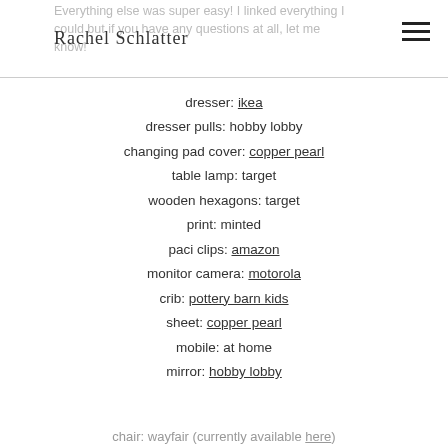Everything else was super easy! I linked everything I could but if you have any questions at all, let me know!
[Figure (logo): Rachel Schlatter cursive signature logo]
dresser: ikea
dresser pulls: hobby lobby
changing pad cover: copper pearl
table lamp: target
wooden hexagons: target
print: minted
paci clips: amazon
monitor camera: motorola
crib: pottery barn kids
sheet: copper pearl
mobile: at home
mirror: hobby lobby
chair: wayfair (currently available here)